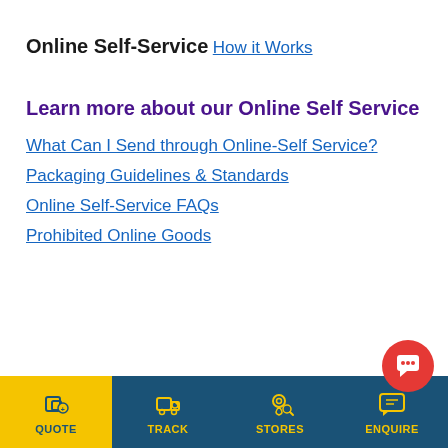Online Self-Service
How it Works
Learn more about our Online Self Service
What Can I Send through Online-Self Service?
Packaging Guidelines & Standards
Online Self-Service FAQs
Prohibited Online Goods
QUOTE  TRACK  STORES  ENQUIRE